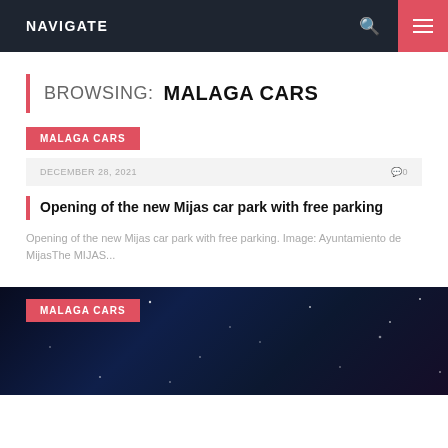NAVIGATE
BROWSING: MALAGA CARS
MALAGA CARS
DECEMBER 28, 2021   0
Opening of the new Mijas car park with free parking
Opening of the new Mijas car park with free parking. Image: Ayuntamiento de MijasThe MIJAS...
MALAGA CARS
[Figure (photo): Dark night sky background with stars and blue/purple nebula tones, partially visible article card for a second Malaga Cars post]